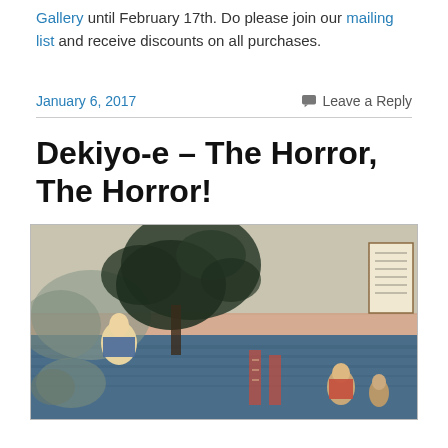Gallery until February 17th. Do please join our mailing list and receive discounts on all purchases.
January 6, 2017    Leave a Reply
Dekiyo-e – The Horror, The Horror!
[Figure (photo): Japanese woodblock print (ukiyo-e) depicting figures in a landscape scene with pine trees, water, mountains, and several people in traditional dress.]